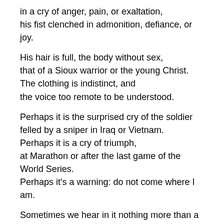in a cry of anger, pain, or exaltation,
his fist clenched in admonition, defiance, or joy.
His hair is full, the body without sex,
that of a Sioux warrior or the young Christ.
The clothing is indistinct, and
the voice too remote to be understood.
Perhaps it is the surprised cry of the soldier
felled by a sniper in Iraq or Vietnam.
Perhaps it is a cry of triumph,
at Marathon or after the last game of the World Series.
Perhaps it's a warning: do not come where I am.
Sometimes we hear in it nothing more than a toast,
in French or Gaelic,
in a Montmartre cafe or a Dun Loaghaire pub.
Maybe this is Martin Luther...